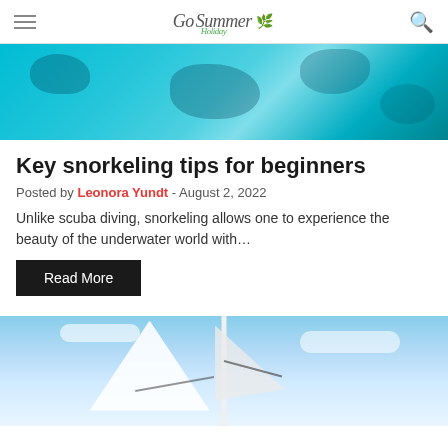Go Summer Holiday
[Figure (photo): Aerial view of turquoise ocean water with dark coral reef formations visible beneath the surface]
Key snorkeling tips for beginners
Posted by Leonora Yundt - August 2, 2022
Unlike scuba diving, snorkeling allows one to experience the beauty of the underwater world with...
Read More
[Figure (photo): Looking up at a sailboat mast against a blue sky with white clouds and rigging visible]